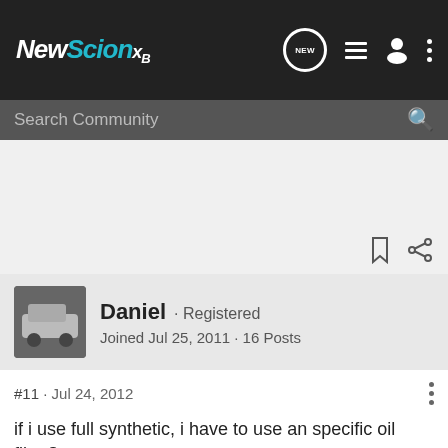NewScionxB
Search Community
Daniel · Registered
Joined Jul 25, 2011 · 16 Posts
#11 · Jul 24, 2012
if i use full synthetic, i have to use an specific oil filter?